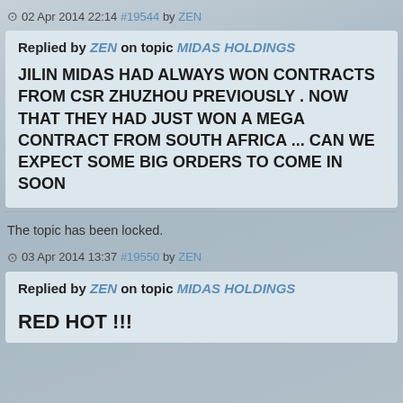02 Apr 2014 22:14 #19544 by ZEN
Replied by ZEN on topic MIDAS HOLDINGS
JILIN MIDAS HAD ALWAYS WON CONTRACTS FROM CSR ZHUZHOU PREVIOUSLY . NOW THAT THEY HAD JUST WON A MEGA CONTRACT FROM SOUTH AFRICA ... CAN WE EXPECT SOME BIG ORDERS TO COME IN SOON
The topic has been locked.
03 Apr 2014 13:37 #19550 by ZEN
Replied by ZEN on topic MIDAS HOLDINGS
RED HOT !!!